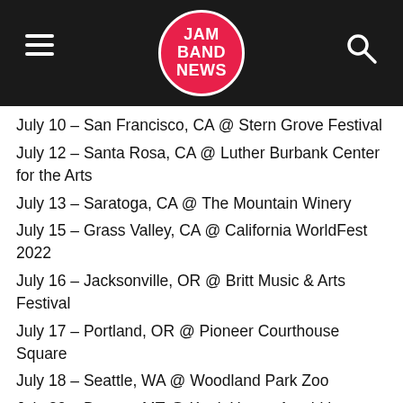JAM BAND NEWS
July 10 – San Francisco, CA @ Stern Grove Festival
July 12 – Santa Rosa, CA @ Luther Burbank Center for the Arts
July 13 – Saratoga, CA @ The Mountain Winery
July 15 – Grass Valley, CA @ California WorldFest 2022
July 16 – Jacksonville, OR @ Britt Music & Arts Festival
July 17 – Portland, OR @ Pioneer Courthouse Square
July 18 – Seattle, WA @ Woodland Park Zoo
July 20 – Bonner, MT @ KettleHouse Amphitheater
July 21 – Bozeman, MT @ The ELM
July 22 – Jackson, WY @ Jackson Hole Center for the Arts
July 23 – Salt Lake City, UT @ Red Butte Garden Outdoor Concert Series
July 24 – Beaver Creek, CO @ Vilar Performing Arts Center
July 29 – Washington, DC @ The Anthem